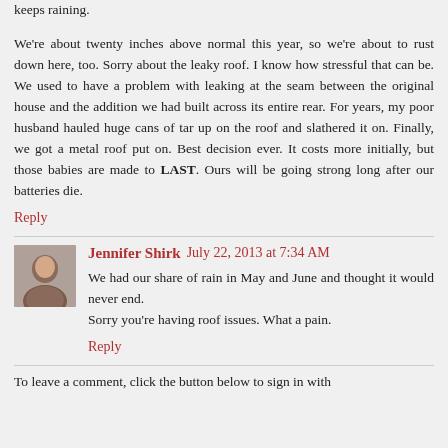keeps raining.
We're about twenty inches above normal this year, so we're about to rust down here, too. Sorry about the leaky roof. I know how stressful that can be. We used to have a problem with leaking at the seam between the original house and the addition we had built across its entire rear. For years, my poor husband hauled huge cans of tar up on the roof and slathered it on. Finally, we got a metal roof put on. Best decision ever. It costs more initially, but those babies are made to LAST. Ours will be going strong long after our batteries die.
Reply
Jennifer Shirk July 22, 2013 at 7:34 AM
We had our share of rain in May and June and thought it would never end.
Sorry you're having roof issues. What a pain.
Reply
To leave a comment, click the button below to sign in with